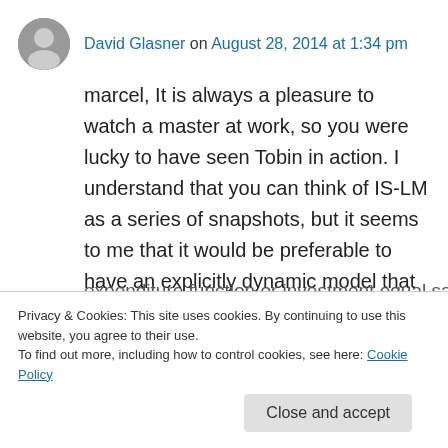David Glasner on August 28, 2014 at 1:34 pm
marcel, It is always a pleasure to watch a master at work, so you were lucky to have seen Tobin in action. I understand that you can think of IS-LM as a series of snapshots, but it seems to me that it would be preferable to have an explicitly dynamic model that incorporates expectations. Of course it is possible to incorporate expectations into the IS-LM framework, but, as you point out, it doesn't allow for an explicit
Privacy & Cookies: This site uses cookies. By continuing to use this website, you agree to their use.
To find out more, including how to control cookies, see here: Cookie Policy
Close and accept
expenditure function or investment equal savings